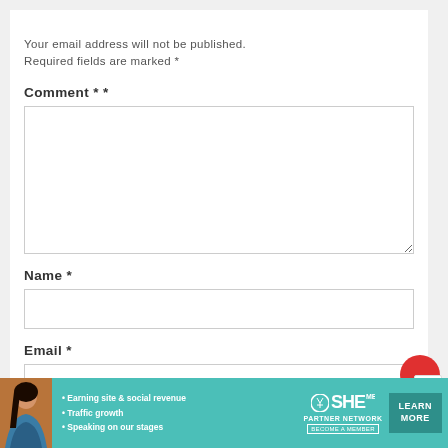Your email address will not be published. Required fields are marked *
Comment * *
Name *
Email *
[Figure (infographic): SHE Media Partner Network advertisement banner with photo of woman, bullet points about earning site & social revenue, traffic growth, speaking on stages, SHE logo, and LEARN MORE button]